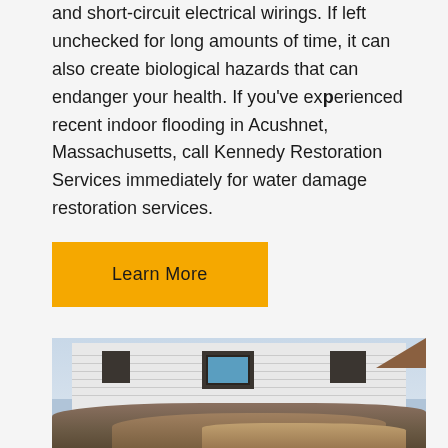and short-circuit electrical wirings. If left unchecked for long amounts of time, it can also create biological hazards that can endanger your health. If you've experienced recent indoor flooding in Acushnet, Massachusetts, call Kennedy Restoration Services immediately for water damage restoration services.
Learn More
[Figure (photo): Photo of a flood-damaged house exterior with brown shuttered windows and a large pile of debris and damaged belongings in front of the white-sided building.]